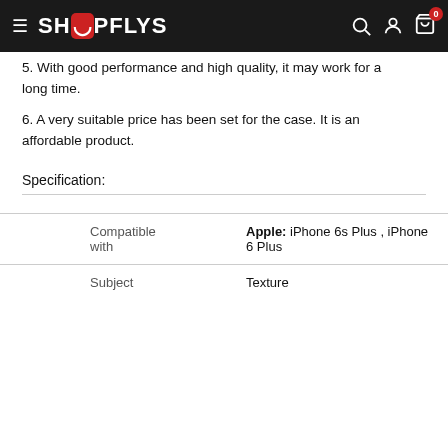SHOPFLYS
5. With good performance and high quality, it may work for a long time.
6. A very suitable price has been set for the case. It is an affordable product.
Specification:
|  |  |
| --- | --- |
| Compatible with | Apple:  iPhone 6s Plus , iPhone 6 Plus |
| Subject | Texture |